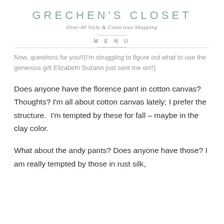GRECHEN'S CLOSET
Over-40 Style & Conscious Shopping
MENU
Now, questions for you!!(I'm struggling to figure out what to use the generous gift Elizabeth Suzann just sent me on!!)
Does anyone have the florence pant in cotton canvas? Thoughts? I'm all about cotton canvas lately; I prefer the structure.  I'm tempted by these for fall – maybe in the clay color.
What about the andy pants? Does anyone have those? I am really tempted by those in rust silk,